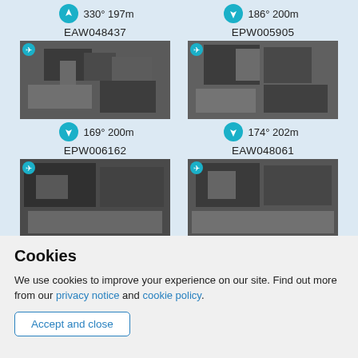330° 197m
186° 200m
EAW048437
[Figure (photo): Black and white aerial photograph of bombed/damaged urban area, labeled EAW048437]
EPW005905
[Figure (photo): Black and white aerial photograph of bombed/damaged urban area, labeled EPW005905]
169° 200m
174° 202m
EPW006162
[Figure (photo): Black and white aerial photograph, labeled EPW006162]
EAW048061
[Figure (photo): Black and white aerial photograph, labeled EAW048061]
Cookies
We use cookies to improve your experience on our site. Find out more from our privacy notice and cookie policy.
Accept and close